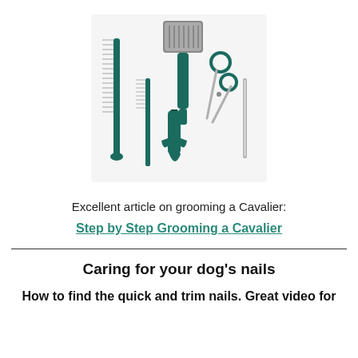[Figure (photo): A set of pet grooming tools laid out on a white background, including a slicker brush, two combs, nail clippers, scissors, and a nail file, all with dark teal/green handles.]
Excellent article on grooming a Cavalier:
Step by Step Grooming a Cavalier
Caring for your dog's nails
How to find the quick and trim nails. Great video for